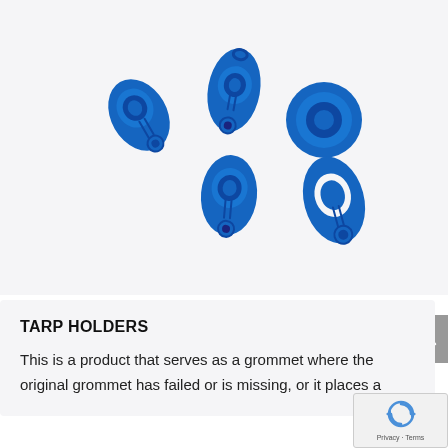[Figure (photo): Five blue plastic tarp holders/grommets arranged on a white background. They are teardrop-shaped with a circular cup and hole at bottom for securing tarps.]
TARP HOLDERS
This is a product that serves as a grommet where the original grommet has failed or is missing, or it places a